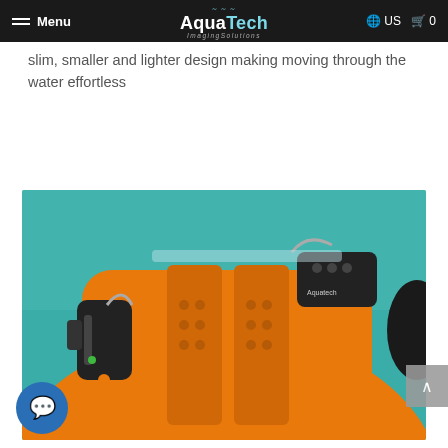Menu | AquaTech Imaging Solutions | US | Cart 0
making moving through the water effortless
[Figure (photo): Close-up photo of an orange AquaTech underwater camera housing with black latches and controls, turquoise water in the background.]